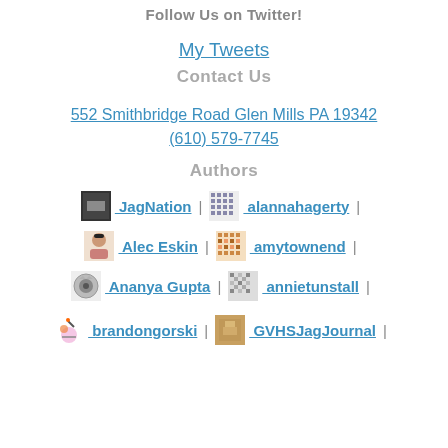Follow Us on Twitter!
My Tweets
Contact Us
552 Smithbridge Road Glen Mills PA 19342
(610) 579-7745
Authors
JagNation | alannahagerty |
Alec Eskin | amytownend |
Ananya Gupta | annietunstall |
brandongorski | GVHSJagJournal |